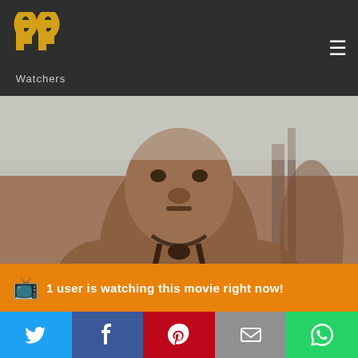Watchers — logo and navigation header
[Figure (photo): Close-up photo of a shirtless man with a necklace, appearing to be from a movie scene set in a jungle or ancient setting]
1 user is watching this movie right now!
Winai Kraibutr
[Figure (other): Social share bar with Twitter, Facebook, Pinterest, Email, and WhatsApp icons]